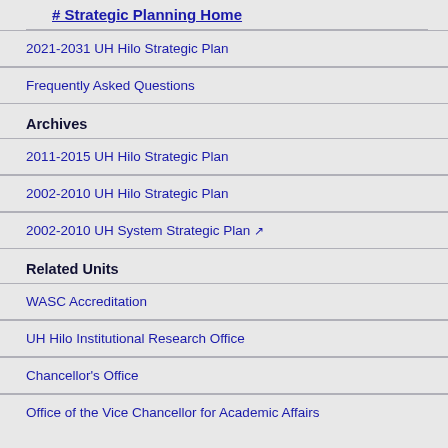# Strategic Planning Home
2021-2031 UH Hilo Strategic Plan
Frequently Asked Questions
Archives
2011-2015 UH Hilo Strategic Plan
2002-2010 UH Hilo Strategic Plan
2002-2010 UH System Strategic Plan ↗
Related Units
WASC Accreditation
UH Hilo Institutional Research Office
Chancellor's Office
Office of the Vice Chancellor for Academic Affairs